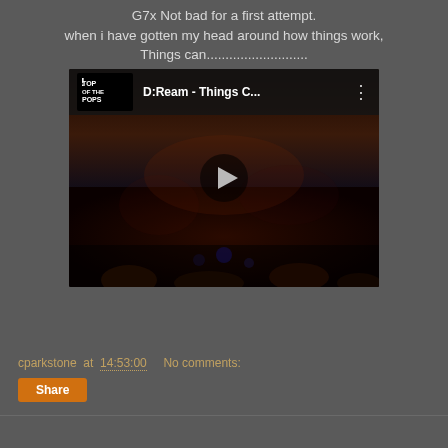G7x Not bad for a first attempt. when i have gotten my head around how things work, Things can...........................
[Figure (screenshot): Embedded YouTube video thumbnail showing D:Ream - Things C... with Top of the Pops logo, dark concert crowd background, and a play button overlay]
cparkstone at 14:53:00   No comments:
Share